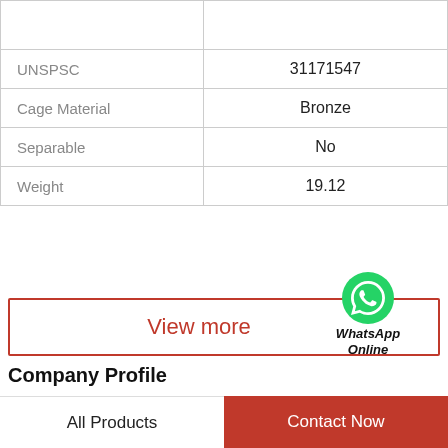| Property | Value |
| --- | --- |
|  |  |
| UNSPSC | 31171547 |
| Cage Material | Bronze |
| Separable | No |
| Weight | 19.12 |
[Figure (logo): WhatsApp green circle icon with phone handset, labeled WhatsApp Online]
View more
Company Profile
Shandong Xiangyue bearing Trading Co., Ltd
All Products   Contact Now